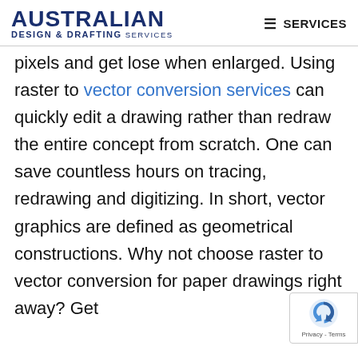[Figure (logo): Australian Design & Drafting Services logo with hamburger menu and SERVICES text]
pixels and get lose when enlarged. Using raster to vector conversion services can quickly edit a drawing rather than redraw the entire concept from scratch. One can save countless hours on tracing, redrawing and digitizing. In short, vector graphics are defined as geometrical constructions. Why not choose raster to vector conversion for paper drawings right away? Get